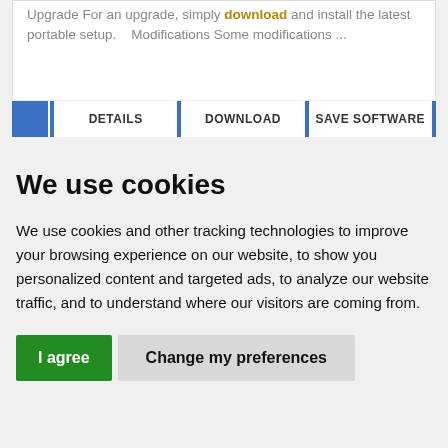Upgrade For an upgrade, simply download and install the latest portable setup.    Modifications Some modifications ...
DETAILS | DOWNLOAD | SAVE SOFTWARE
We use cookies
We use cookies and other tracking technologies to improve your browsing experience on our website, to show you personalized content and targeted ads, to analyze our website traffic, and to understand where our visitors are coming from.
I agree | Change my preferences